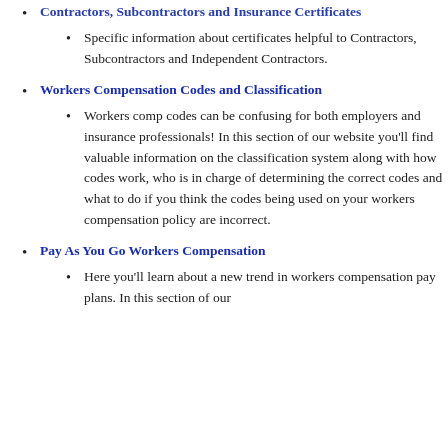Contractors, Subcontractors and Insurance Certificates
Specific information about certificates helpful to Contractors, Subcontractors and Independent Contractors.
Workers Compensation Codes and Classification
Workers comp codes can be confusing for both employers and insurance professionals! In this section of our website you'll find valuable information on the classification system along with how codes work, who is in charge of determining the correct codes and what to do if you think the codes being used on your workers compensation policy are incorrect.
Pay As You Go Workers Compensation
Here you'll learn about a new trend in workers compensation pay plans. In this section of our